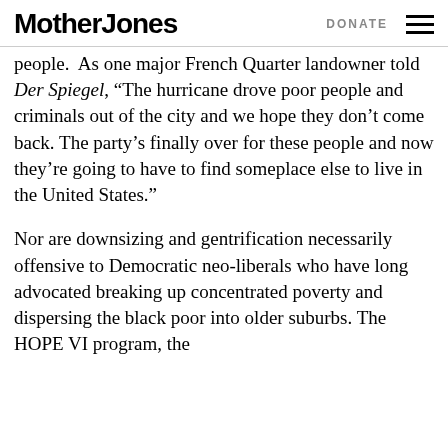Mother Jones | DONATE
people.  As one major French Quarter landowner told Der Spiegel, “The hurricane drove poor people and criminals out of the city and we hope they don’t come back. The party’s finally over for these people and now they’re going to have to find someplace else to live in the United States.”
Nor are downsizing and gentrification necessarily offensive to Democratic neo-liberals who have long advocated breaking up concentrated poverty and dispersing the black poor into older suburbs. The HOPE VI program, the